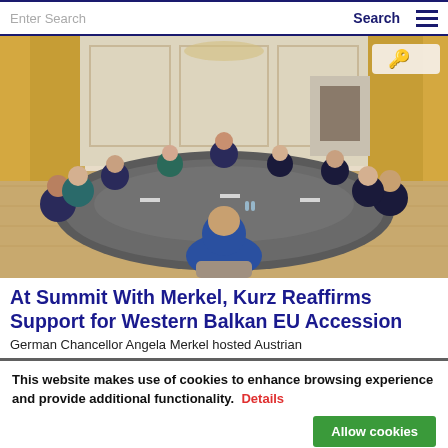Enter Search | Search | ☰
[Figure (photo): Group of officials seated around a large oval conference table in an elegant room with curtains and ornate decor. A man in a blue jacket sits with his back to the camera at the near side of the table.]
At Summit With Merkel, Kurz Reaffirms Support for Western Balkan EU Accession
German Chancellor Angela Merkel hosted Austrian
This website makes use of cookies to enhance browsing experience and provide additional functionality. Details
Allow cookies